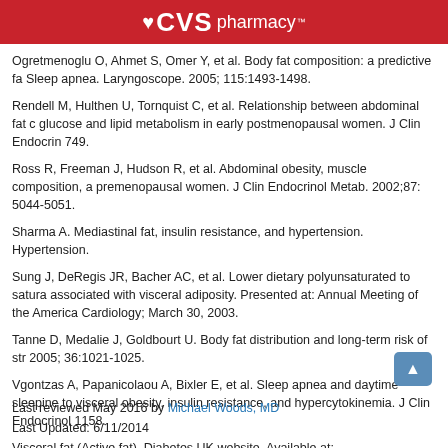CVS pharmacy™
Ogretmenoglu O, Ahmet S, Omer Y, et al. Body fat composition: a predictive fa Sleep apnea. Laryngoscope. 2005; 115:1493-1498.
Rendell M, Hulthen U, Tornquist C, et al. Relationship between abdominal fat c glucose and lipid metabolism in early postmenopausal women. J Clin Endocrin 749.
Ross R, Freeman J, Hudson R, et al. Abdominal obesity, muscle composition, a premenopausal women. J Clin Endocrinol Metab. 2002;87: 5044-5051.
Sharma A. Mediastinal fat, insulin resistance, and hypertension. Hypertension.
Sung J, DeRegis JR, Bacher AC, et al. Lower dietary polyunsaturated to satura associated with visceral adiposity. Presented at: Annual Meeting of the America Cardiology; March 30, 2003.
Tanne D, Medalie J, Goldbourt U. Body fat distribution and long-term risk of str 2005; 36:1021-1025.
Vgontzas A, Papanicolaou A, Bixler E, et al. Sleep apnea and daytime sleepine to visceral obesity, insulin resistance, and hypercytokinemia. J Clin Endocrinol 1158.
Visceral fat (Active fat). Diabetes UK website. Available at: http://www.diabetes.co.uk/body/visceral-fat.html ...(Click gra Accessed May 10, 2016.
Last reviewed May 2016 by Michael Woods, MD
Last Updated: 6/11/2014